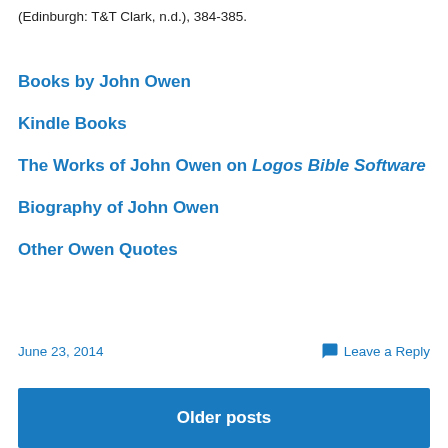(Edinburgh: T&T Clark, n.d.), 384-385.
Books by John Owen
Kindle Books
The Works of John Owen on Logos Bible Software
Biography of John Owen
Other Owen Quotes
June 23, 2014    Leave a Reply    Older posts